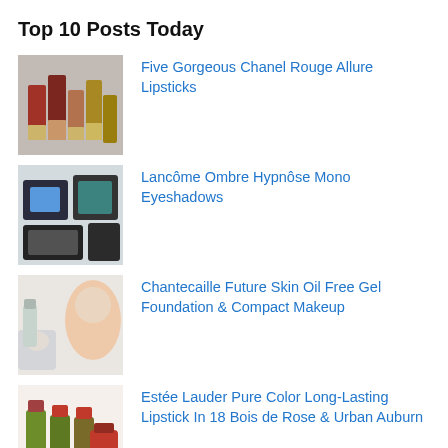Top 10 Posts Today
Five Gorgeous Chanel Rouge Allure Lipsticks
Lancôme Ombre Hypnôse Mono Eyeshadows
Chantecaille Future Skin Oil Free Gel Foundation & Compact Makeup
Estée Lauder Pure Color Long-Lasting Lipstick In 18 Bois de Rose & Urban Auburn